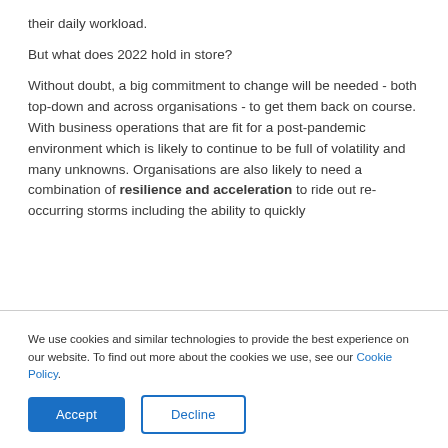their daily workload.
But what does 2022 hold in store?
Without doubt, a big commitment to change will be needed - both top-down and across organisations - to get them back on course.  With business operations that are fit for a post-pandemic environment which is likely to continue to be full of volatility and many unknowns. Organisations are also likely to need a combination of resilience and acceleration to ride out re-occurring storms including the ability to quickly
We use cookies and similar technologies to provide the best experience on our website. To find out more about the cookies we use, see our Cookie Policy.
Accept
Decline